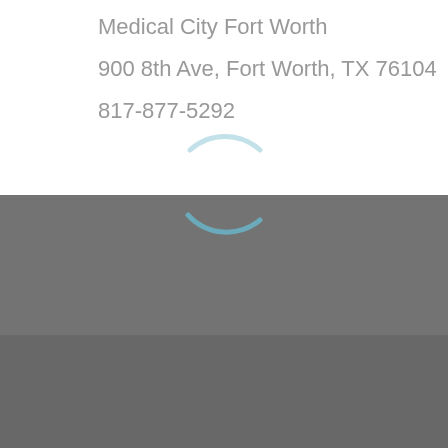Medical City Fort Worth
900 8th Ave, Fort Worth, TX 76104
817-877-5292
[Figure (other): Loading spinner icon (partial circle arc in light blue/teal)]
Privacy Policy
100%
Copyright 2020. All Rights Reserved by North Texas Kidney Consultants